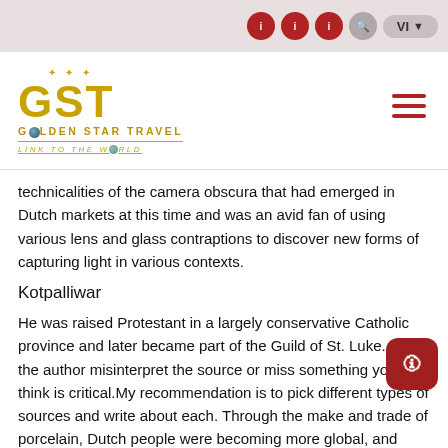Navigation bar with social icons and language selector VI
[Figure (logo): Golden Star Travel logo with GST letters in gold, globe icon, tagline LINK TO THE WORLD, and hamburger menu icon]
technicalities of the camera obscura that had emerged in Dutch markets at this time and was an avid fan of using various lens and glass contraptions to discover new forms of capturing light in various contexts.
Kotpalliwar
He was raised Protestant in a largely conservative Catholic province and later became part of the Guild of St. Luke. Did the author misinterpret the source or miss something you think is critical.My recommendation is to pick different types of sources and write about each. Through the make and trade of porcelain, Dutch people were becoming more global, and opening their trade to other countries such as China, Europe,